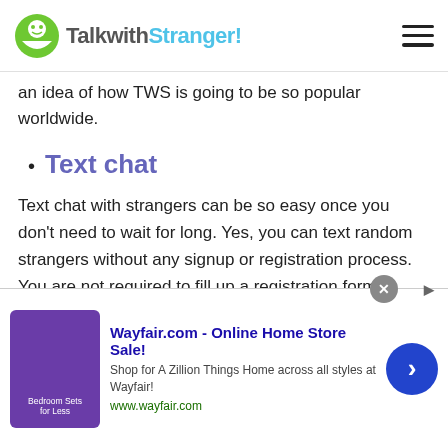TalkwithStranger!
an idea of how TWS is going to be so popular worldwide.
Text chat
Text chat with strangers can be so easy once you don't need to wait for long. Yes, you can text random strangers without any signup or registration process. You are not required to fill up a registration form or reveal your personal information to anyone else. You can access the TWS text chat option within a few seconds and start talking to strangers
[Figure (screenshot): Wayfair.com advertisement banner - Online Home Store Sale! Shop for A Zillion Things Home across all styles at Wayfair! www.wayfair.com]